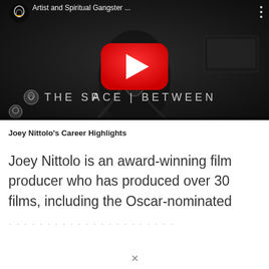[Figure (screenshot): YouTube video thumbnail showing a man with headphones speaking into a microphone in a dark studio setting. The video title reads 'Artist and Spiritual Gangster ...' with a YouTube logo icon at top left and three-dot menu at top right. A large red YouTube play button is centered. Overlaid text reads 'THE SPACE | BETWEEN' with Spiritual Gangster logos.]
Joey Nittolo's Career Highlights
Joey Nittolo is an award-winning film producer who has produced over 30 films, including the Oscar-nominated